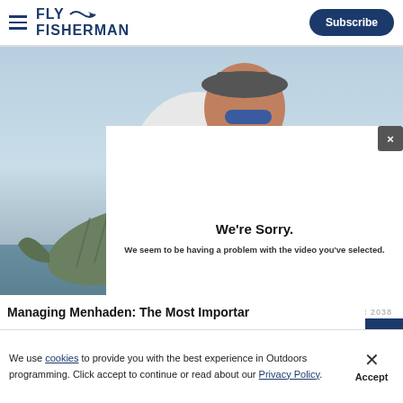FLY FISHERMAN | Subscribe
[Figure (photo): Man smiling holding a large striped bass fish, wearing sunglasses and a white shirt with blue buff neck gaiter, outdoors on water]
[Figure (screenshot): Error modal overlay on video player: 'We're Sorry. We seem to be having a problem with the video you've selected.' with X close button and ERROR 2038 text at bottom]
Managing Menhaden: The Most Importar...
We use cookies to provide you with the best experience in Outdoors programming. Click accept to continue or read about our Privacy Policy.